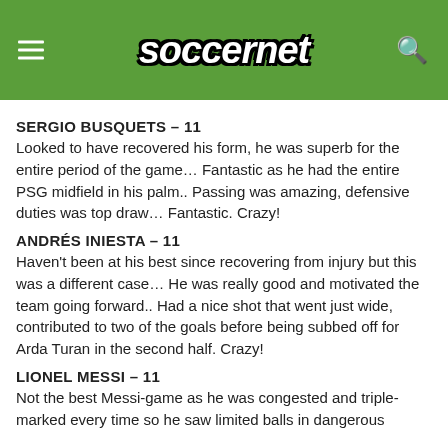soccernet
SERGIO BUSQUETS – 11
Looked to have recovered his form, he was superb for the entire period of the game… Fantastic as he had the entire PSG midfield in his palm.. Passing was amazing, defensive duties was top draw… Fantastic. Crazy!
ANDRÉS INIESTA – 11
Haven't been at his best since recovering from injury but this was a different case… He was really good and motivated the team going forward.. Had a nice shot that went just wide, contributed to two of the goals before being subbed off for Arda Turan in the second half. Crazy!
LIONEL MESSI – 11
Not the best Messi-game as he was congested and triple-marked every time so he saw limited balls in dangerous